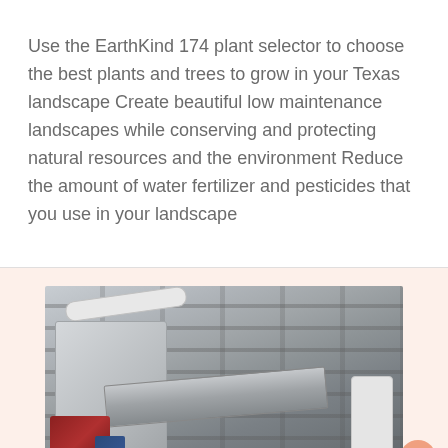Use the EarthKind 174 plant selector to choose the best plants and trees to grow in your Texas landscape Create beautiful low maintenance landscapes while conserving and protecting natural resources and the environment Reduce the amount of water fertilizer and pesticides that you use in your landscape
[Figure (photo): Industrial facility interior showing metal ceiling beams, ductwork, conveyor equipment, and machinery in a warehouse or processing plant setting.]